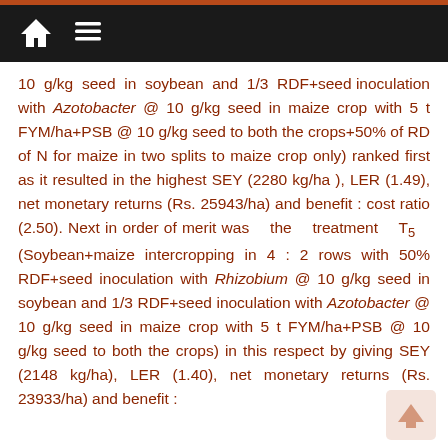10 g/kg seed in soybean and 1/3 RDF+seed inoculation with Azotobacter @ 10 g/kg seed in maize crop with 5 t FYM/ha+PSB @ 10 g/kg seed to both the crops+50% of RD of N for maize in two splits to maize crop only) ranked first as it resulted in the highest SEY (2280 kg/ha ), LER (1.49), net monetary returns (Rs. 25943/ha) and benefit : cost ratio (2.50). Next in order of merit was the treatment T5 (Soybean+maize intercropping in 4 : 2 rows with 50% RDF+seed inoculation with Rhizobium @ 10 g/kg seed in soybean and 1/3 RDF+seed inoculation with Azotobacter @ 10 g/kg seed in maize crop with 5 t FYM/ha+PSB @ 10 g/kg seed to both the crops) in this respect by giving SEY (2148 kg/ha), LER (1.40), net monetary returns (Rs. 23933/ha) and benefit :